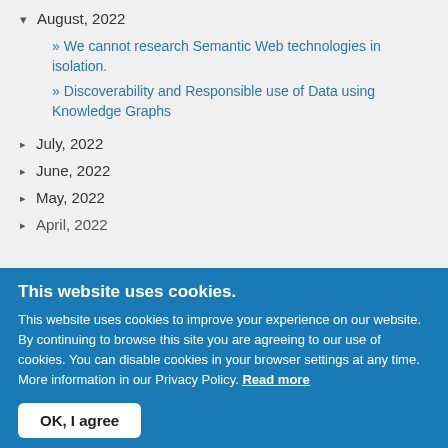▾ August, 2022
» We cannot research Semantic Web technologies in isolation.
» Discoverability and Responsible use of Data using Knowledge Graphs
▸ July, 2022
▸ June, 2022
▸ May, 2022
▸ April, 2022
This website uses cookies.
This website uses cookies to improve your experience on our website. By continuing to browse this site you are agreeing to our use of cookies. You can disable cookies in your browser settings at any time. More information in our Privacy Policy. Read more
OK, I agree